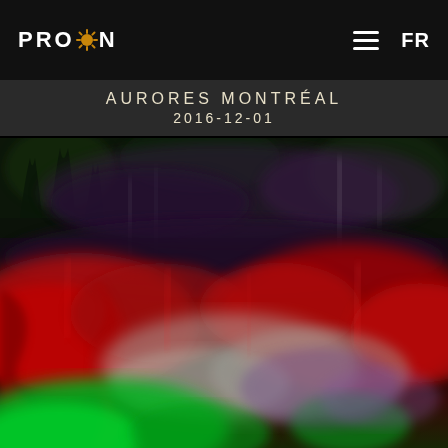PROLUXON  FR
AURORES MONTRÉAL
2016-12-01
[Figure (photo): Night aurora photograph showing colorful aurora borealis with vivid red, green, purple, and white streaks over a dark silhouetted treeline. The image has a thermal/false-color appearance with bright red and green bands dominating the lower half and dark purple-green foliage tones in the upper half.]